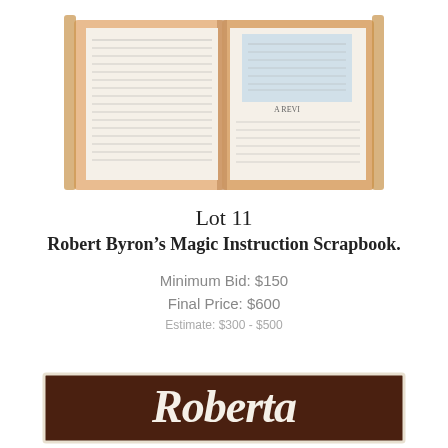[Figure (photo): Open scrapbook/binder with pages of text visible, displayed against a white background]
Lot 11
Robert Byron’s Magic Instruction Scrapbook.
Minimum Bid: $150
Final Price: $600
Estimate: $300 - $500
[Figure (photo): Brown sign with white cursive lettering reading 'Roberta']